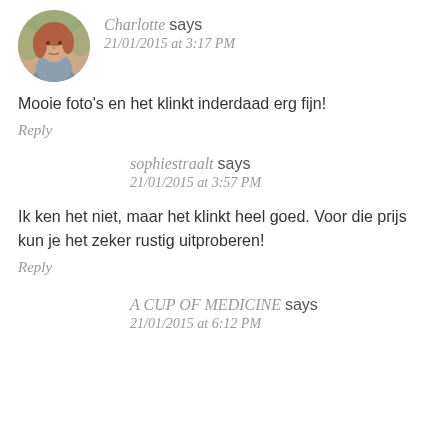[Figure (photo): Circular avatar photo of Charlotte, a woman with reddish-brown hair]
Charlotte says
21/01/2015 at 3:17 PM
Mooie foto's en het klinkt inderdaad erg fijn!
Reply
sophiestraalt says
21/01/2015 at 3:57 PM
Ik ken het niet, maar het klinkt heel goed. Voor die prijs kun je het zeker rustig uitproberen!
Reply
A CUP OF MEDICINE says
21/01/2015 at 6:12 PM